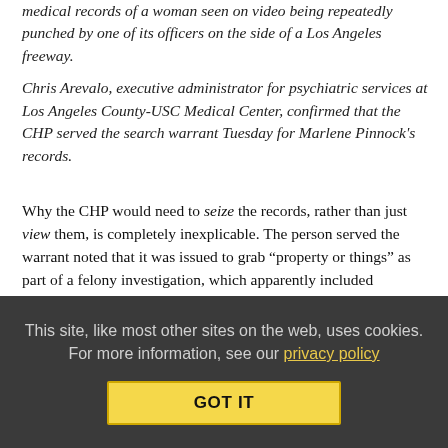medical records of a woman seen on video being repeatedly punched by one of its officers on the side of a Los Angeles freeway.

Chris Arevalo, executive administrator for psychiatric services at Los Angeles County-USC Medical Center, confirmed that the CHP served the search warrant Tuesday for Marlene Pinnock's records.
Why the CHP would need to seize the records, rather than just view them, is completely inexplicable. The person served the warrant noted that it was issued to grab “property or things” as part of a felony investigation, which apparently included communications with her doctor about her well-being and “references to her attorney.”
I’m sure the ongoing investigation will clarify the CHP’s need to violate its victim’s privacy before this debacle is wrapped up. That’s how it works. But it looks like an uphill battle. The statement
This site, like most other sites on the web, uses cookies. For more information, see our privacy policy
GOT IT